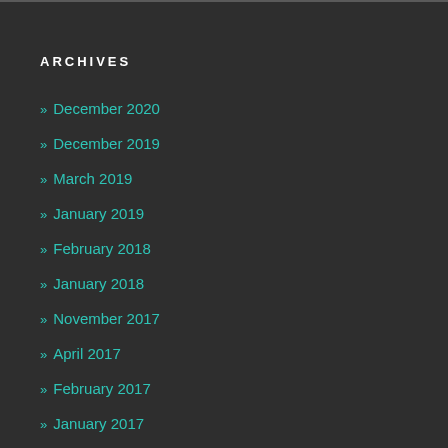ARCHIVES
» December 2020
» December 2019
» March 2019
» January 2019
» February 2018
» January 2018
» November 2017
» April 2017
» February 2017
» January 2017
» December 2016
» November 2016